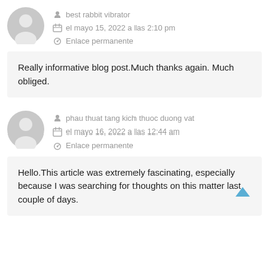best rabbit vibrator
el mayo 15, 2022 a las 2:10 pm
Enlace permanente
Really informative blog post.Much thanks again. Much obliged.
phau thuat tang kich thuoc duong vat
el mayo 16, 2022 a las 12:44 am
Enlace permanente
Hello.This article was extremely fascinating, especially because I was searching for thoughts on this matter last couple of days.